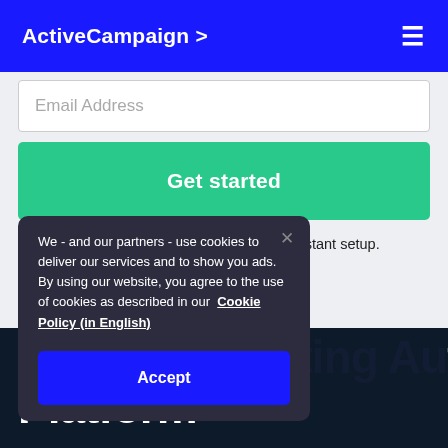ActiveCampaign >
Email Address
Get started
Try it free. No credit card required. Instant setup.
We - and our partners - use cookies to deliver our services and to show you ads. By using our website, you agree to the use of cookies as described in our Cookie Policy (in English)
Accept
The #1 Marketing Automation Platform